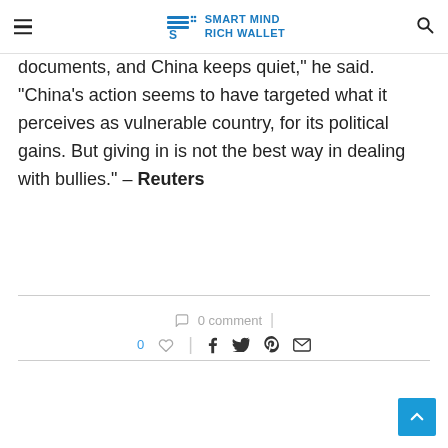Smart Mind Rich Wallet
documents, and China keeps quiet," he said. "China's action seems to have targeted what it perceives as vulnerable country, for its political gains. But giving in is not the best way in dealing with bullies." – Reuters
0 comment
0 likes, share icons: Facebook, Twitter, Pinterest, Email